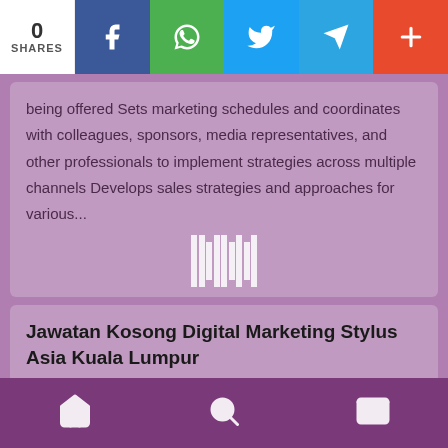0 SHARES
being offered Sets marketing schedules and coordinates with colleagues, sponsors, media representatives, and other professionals to implement strategies across multiple channels Develops sales strategies and approaches for various...
Jawatan Kosong Digital Marketing Stylus Asia Kuala Lumpur
Stylus Asia - Kuala Lumpur | : 5 September 2022
Plans and executes all web, SEO/SEM, database
Home | Search | Mail